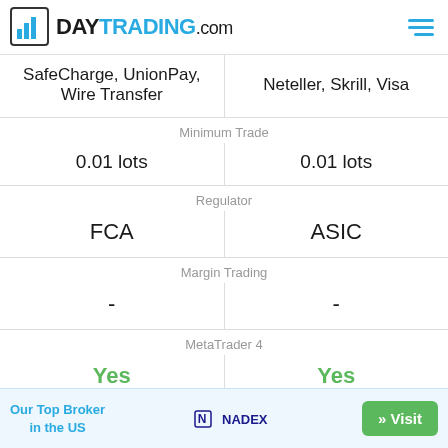DAYTRADING.com
| Column 1 | Column 2 |
| --- | --- |
| SafeCharge, UnionPay, Wire Transfer | Neteller, Skrill, Visa |
| Minimum Trade | Minimum Trade |
| 0.01 lots | 0.01 lots |
| Regulator | Regulator |
| FCA | ASIC |
| Margin Trading | Margin Trading |
| - | - |
| MetaTrader 4 | MetaTrader 4 |
| Yes | Yes |
| MetaTrader 5 | MetaTrader 5 |
| No | Yes |
Our Top Broker in the US  NADEX  » Visit